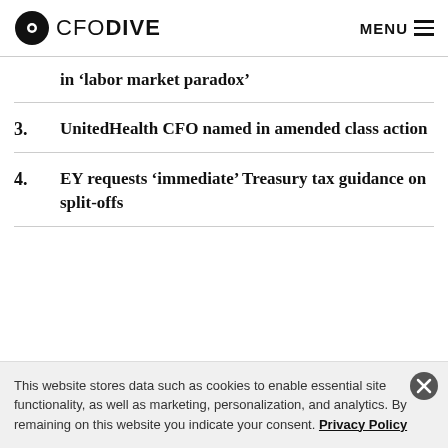CFO DIVE  MENU
in ‘labor market paradox’
3. UnitedHealth CFO named in amended class action
4. EY requests ‘immediate’ Treasury tax guidance on split-offs
This website stores data such as cookies to enable essential site functionality, as well as marketing, personalization, and analytics. By remaining on this website you indicate your consent. Privacy Policy